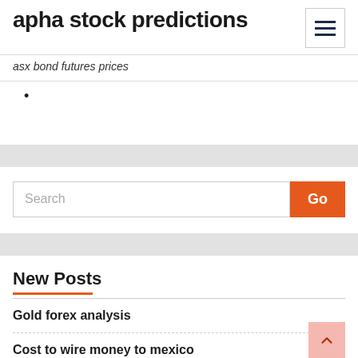apha stock predictions
asx bond futures prices
•
Search
New Posts
Gold forex analysis
Cost to wire money to mexico
Forex picks today